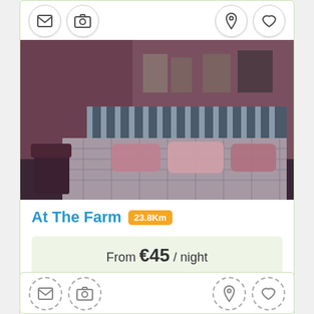[Figure (screenshot): Mobile app listing card for 'At The Farm' bed and breakfast. Shows a bedroom photo with pink walls, striped headboard, gray patterned bedspread, and pink pillows. Card includes icon buttons (envelope, camera, map pin, heart) at top, listing title 'At The Farm' with distance badge '23.8Km', price bar 'From €45 / night', and action buttons 'View Photos' and 'Contact'. Below is a second partial card showing dashed icon buttons.]